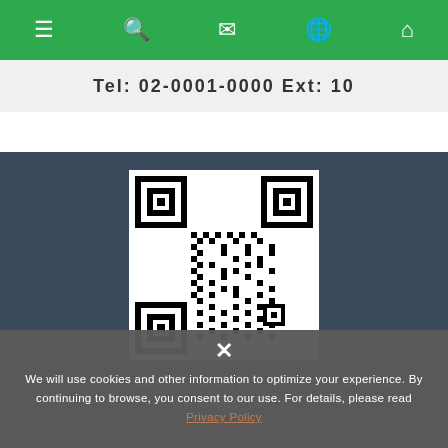Navigation bar with menu, search, mail, globe, and home icons
Tel: 02-0001-0000 Ext: 10
[Figure (other): QR code image in white box on dark background]
Copyright © BioWare Technologies Co., Ltd. All Rights Reserved. Web Design | DMO
We will use cookies and other information to optimize your experience. By continuing to browse, you consent to our use. For details, please read Privacy Policy